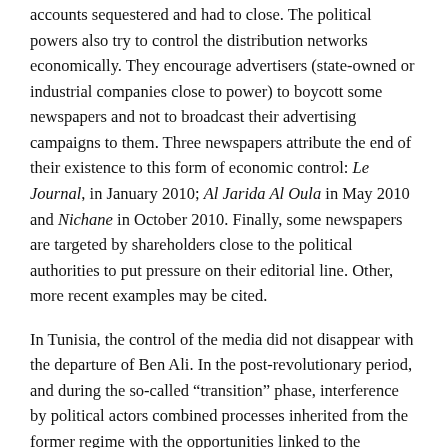accounts sequestered and had to close. The political powers also try to control the distribution networks economically. They encourage advertisers (state-owned or industrial companies close to power) to boycott some newspapers and not to broadcast their advertising campaigns to them. Three newspapers attribute the end of their existence to this form of economic control: Le Journal, in January 2010; Al Jarida Al Oula in May 2010 and Nichane in October 2010. Finally, some newspapers are targeted by shareholders close to the political authorities to put pressure on their editorial line. Other, more recent examples may be cited.
In Tunisia, the control of the media did not disappear with the departure of Ben Ali. In the post-revolutionary period, and during the so-called “transition” phase, interference by political actors combined processes inherited from the former regime with the opportunities linked to the restructuring of this sector. While he was in power, the Ennahdha party appointed